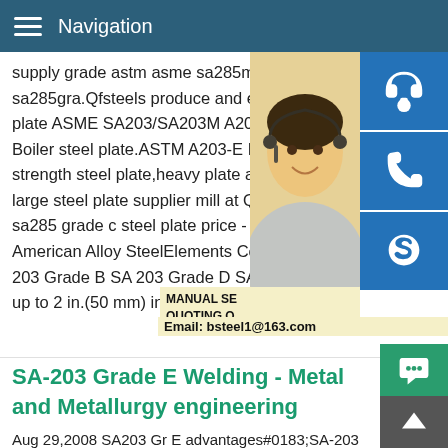Navigation
supply grade astm asme sa285m steel pla sa285gra.Qfsteels produce and export AS plate ASME SA203/SA203M A203-E NAC Boiler steel plate.ASTM A203-E HIC steel strength steel plate,heavy plate and wide, large steel plate supplier mill at QFSTEEL sa285 grade c steel plate price - AlloySA-2 American Alloy SteelElements Compositio 203 Grade B SA 203 Grade D SA 203 Gra up to 2 in.(50 mm) in thickness 0.17 0.21
[Figure (photo): Woman with headset (customer service representative) with blue icon buttons for chat, phone, and Skype on the right side. Manual SE, Quoting O overlay text and Email: bsteel1@163.com]
SA-203 Grade E Welding - Metal and Metallurgy engineering
Aug 29,2008 SA203 Gr E advantages#0183;SA-203 Grade E Welding 82253 (Mechanical) (OP) 28 Aug 08 14:20.Our Comp is trying to find FCAW type wire for qualif welding procedure